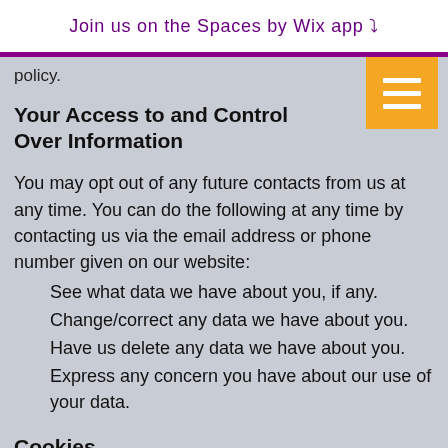Join us on the Spaces by Wix app ↓
policy.
Your Access to and Control Over Information
You may opt out of any future contacts from us at any time. You can do the following at any time by contacting us via the email address or phone number given on our website:
See what data we have about you, if any.
Change/correct any data we have about you.
Have us delete any data we have about you.
Express any concern you have about our use of your data.
Cookies
We use "cookies" on this site. A cookie is a piece of da...on a site...